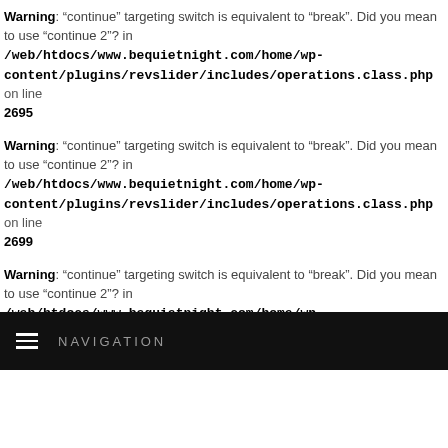Warning: "continue" targeting switch is equivalent to "break". Did you mean to use "continue 2"? in /web/htdocs/www.bequietnight.com/home/wp-content/plugins/revslider/includes/operations.class.php on line 2695
Warning: "continue" targeting switch is equivalent to "break". Did you mean to use "continue 2"? in /web/htdocs/www.bequietnight.com/home/wp-content/plugins/revslider/includes/operations.class.php on line 2699
Warning: "continue" targeting switch is equivalent to "break". Did you mean to use "continue 2"? in /web/htdocs/www.bequietnight.com/home/wp-content/plugins/revslider/includes/output.class.php on line 3581
NAVIGATION